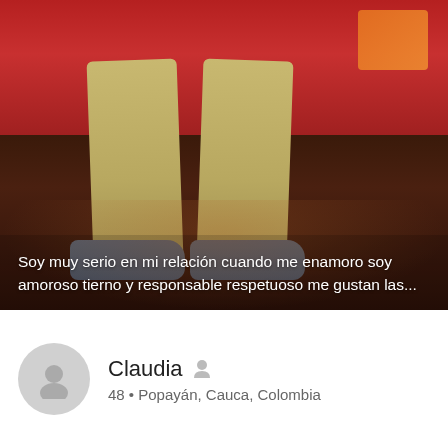[Figure (photo): Photo of a person sitting on a red sofa, showing legs in khaki pants and dark shoes, on a dark wooden floor with a warm reflection. Orange cushion visible on the sofa. Dark background.]
Soy muy serio en mi relación cuando me enamoro soy amoroso tierno y responsable respetuoso me gustan las...
Claudia
48 • Popayán, Cauca, Colombia